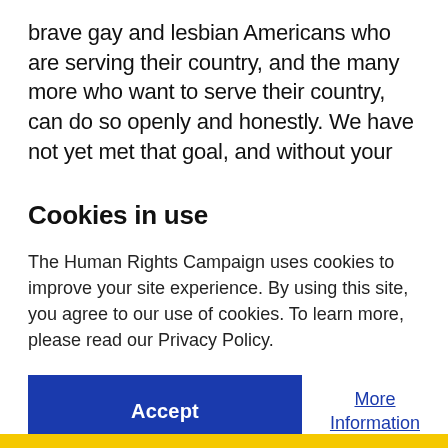brave gay and lesbian Americans who are serving their country, and the many more who want to serve their country, can do so openly and honestly.  We have not yet met that goal, and without your [faded/cut off text]
Cookies in use
The Human Rights Campaign uses cookies to improve your site experience. By using this site, you agree to our use of cookies. To learn more, please read our Privacy Policy.
Accept
More Information